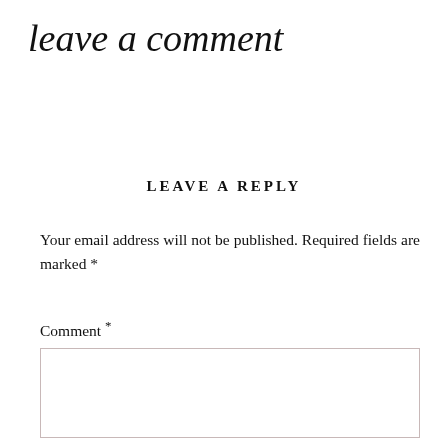leave a comment
LEAVE A REPLY
Your email address will not be published. Required fields are marked *
Comment *